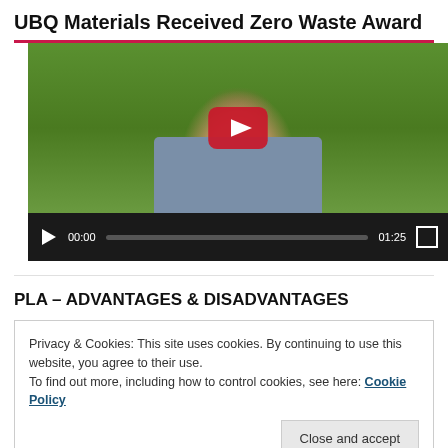UBQ Materials Received Zero Waste Award
[Figure (screenshot): YouTube video player showing a man outdoors with a red YouTube play button overlay. Controls show 00:00 start time and 01:25 duration.]
PLA – ADVANTAGES & DISADVANTAGES
Privacy & Cookies: This site uses cookies. By continuing to use this website, you agree to their use.
To find out more, including how to control cookies, see here: Cookie Policy
Close and accept
[Figure (screenshot): YouTube video player thumbnail showing a man outdoors, partially visible at bottom of page.]